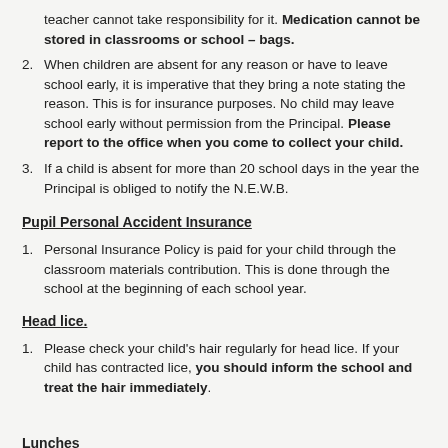teacher cannot take responsibility for it. Medication cannot be stored in classrooms or school – bags.
When children are absent for any reason or have to leave school early, it is imperative that they bring a note stating the reason. This is for insurance purposes. No child may leave school early without permission from the Principal. Please report to the office when you come to collect your child.
If a child is absent for more than 20 school days in the year the Principal is obliged to notify the N.E.W.B.
Pupil Personal Accident Insurance
Personal Insurance Policy is paid for your child through the classroom materials contribution. This is done through the school at the beginning of each school year.
Head lice.
Please check your child's hair regularly for head lice. If your child has contracted lice, you should inform the school and treat the hair immediately.
Lunches